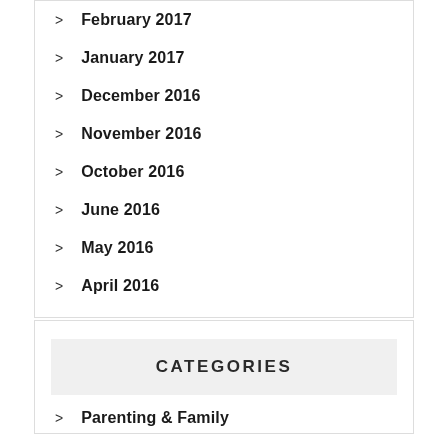February 2017
January 2017
December 2016
November 2016
October 2016
June 2016
May 2016
April 2016
CATEGORIES
Parenting & Family